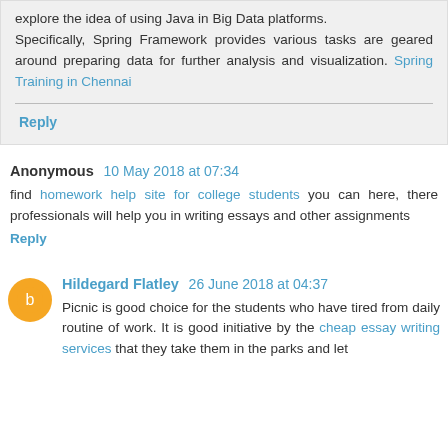explore the idea of using Java in Big Data platforms.
Specifically, Spring Framework provides various tasks are geared around preparing data for further analysis and visualization. Spring Training in Chennai
Reply
Anonymous 10 May 2018 at 07:34
find homework help site for college students you can here, there professionals will help you in writing essays and other assignments
Reply
Hildegard Flatley 26 June 2018 at 04:37
Picnic is good choice for the students who have tired from daily routine of work. It is good initiative by the cheap essay writing services that they take them in the parks and let